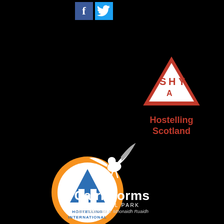[Figure (logo): Facebook and Twitter social media icons at top]
[Figure (logo): SYHA Hostelling Scotland red triangle logo with text 'Hostelling Scotland']
[Figure (logo): Hostelling International circular orange and white logo with blue tent/mountain icon]
[Figure (logo): Cairngorms National Park logo with white bird/figure and text 'Cairngorms NATIONAL PARK, Pairc Naiseanta a' Mhonaidh Ruaidh']